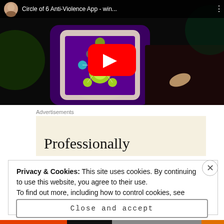[Figure (screenshot): YouTube video thumbnail showing Circle of 6 Anti-Violence App with a phone displaying the app interface. Title reads 'Circle of 6 Anti-Violence App - win...' with a red YouTube play button in the center.]
Advertisements
[Figure (screenshot): Advertisement banner with beige background showing the word 'Professionally' in large serif font.]
Privacy & Cookies: This site uses cookies. By continuing to use this website, you agree to their use.
To find out more, including how to control cookies, see here: Cookie Policy
Close and accept